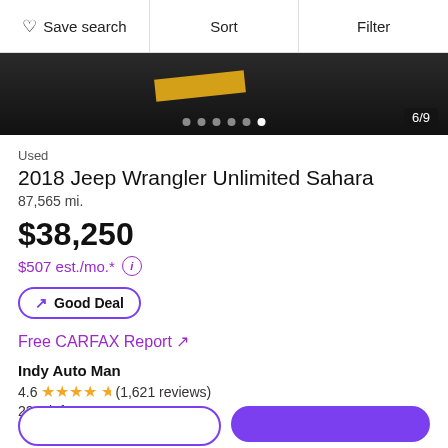Save search | Sort | Filter
[Figure (photo): Partial view of a dark road with yellow lane stripe, car listing photo, showing image 6 of 9]
Used
2018 Jeep Wrangler Unlimited Sahara
87,565 mi.
$38,250
$507 est./mo.*
↗ Good Deal
Free CARFAX Report ↗
Indy Auto Man
4.6 ★★★★½ (1,621 reviews)
22 mi. from 46140